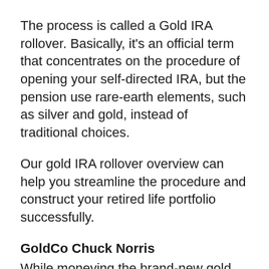The process is called a Gold IRA rollover. Basically, it's an official term that concentrates on the procedure of opening your self-directed IRA, but the pension use rare-earth elements, such as silver and gold, instead of traditional choices.
Our gold IRA rollover overview can help you streamline the procedure and construct your retired life portfolio successfully.
GoldCo Chuck Norris
While moneying the brand-new gold individual retirement account with cash is always your option, commonly, a rollover is a tax-advantaged as well as more secure approach for conforming your retired life cost